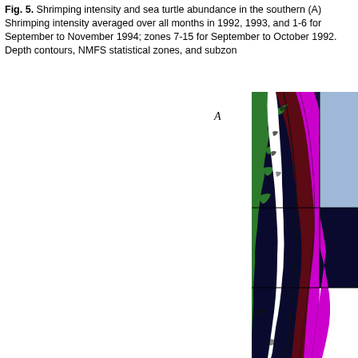Fig. 5. Shrimping intensity and sea turtle abundance in the southern (A) Shrimping intensity averaged over all months in 1992, 1993, and 1-6 for September to November 1994; zones 7-15 for September to October 1992. Depth contours, NMFS statistical zones, and subzon
[Figure (map): Map panel A showing shrimping intensity and sea turtle abundance along the southeastern US Atlantic coast. The map shows the coastline in green, with colored ocean zones ranging from dark navy/purple (deep water) to magenta/bright purple (mid-shelf) to light blue (outer shelf). A dark maroon band runs along the shelf edge. The map includes NMFS statistical zone boundaries shown as rectangular overlaid grid lines. The area shown spans from roughly North Carolina to northern Florida.]